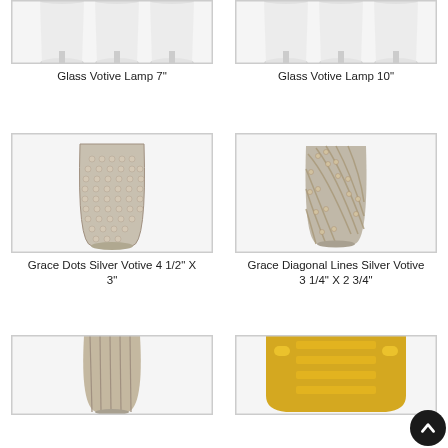[Figure (photo): Glass Votive Lamp 7 inch - white/clear glass lamp shade, top portion visible]
Glass Votive Lamp 7"
[Figure (photo): Glass Votive Lamp 10 inch - white/clear glass lamp shade, top portion visible]
Glass Votive Lamp 10"
[Figure (photo): Grace Dots Silver Votive - a silver hobnail textured glass votive holder]
Grace Dots Silver Votive 4 1/2" X 3"
[Figure (photo): Grace Diagonal Lines Silver Votive - a silver glass votive holder with diagonal ribbed pattern]
Grace Diagonal Lines Silver Votive 3 1/4" X 2 3/4"
[Figure (photo): Bottom-left product - silver mercury glass votive holder, partially visible]
[Figure (photo): Bottom-right product - gold metallic tray or holder, partially visible, with back-to-top button overlay]